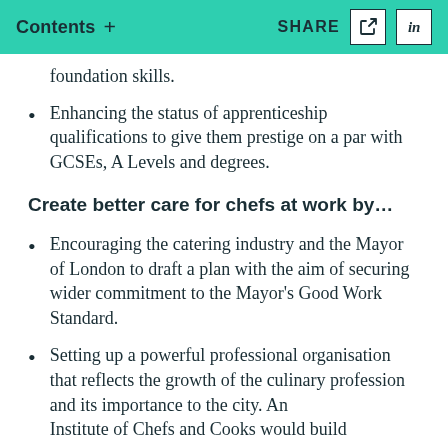Contents + SHARE
foundation skills.
Enhancing the status of apprenticeship qualifications to give them prestige on a par with GCSEs, A Levels and degrees.
Create better care for chefs at work by...
Encouraging the catering industry and the Mayor of London to draft a plan with the aim of securing wider commitment to the Mayor's Good Work Standard.
Setting up a powerful professional organisation that reflects the growth of the culinary profession and its importance to the city. An Institute of Chefs and Cooks would build...